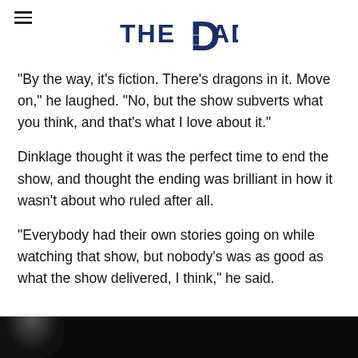THE DAD
“By the way, it’s fiction. There’s dragons in it. Move on,” he laughed. “No, but the show subverts what you think, and that’s what I love about it.”
Dinklage thought it was the perfect time to end the show, and thought the ending was brilliant in how it wasn’t about who ruled after all.
“Everybody had their own stories going on while watching that show, but nobody’s was as good as what the show delivered, I think,” he said.
[Figure (photo): Dark bottom strip showing partial image (person), black background]